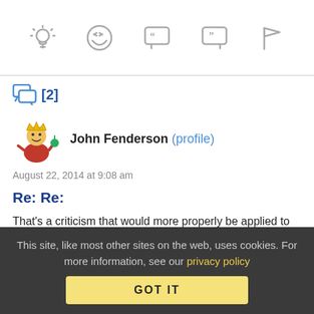[Figure (infographic): Top toolbar with 5 icons: lightbulb, laughing emoji, open-quote speech bubble, close-quote speech bubble, and flag]
[Figure (infographic): Comment count icon (speech bubbles) with [2]]
[Figure (illustration): User avatar: cartoon character in red outfit with crown holding a green item]
John Fenderson (profile)
August 22, 2014 at 9:08 am
Re: Re:
That's a criticism that would more properly be applied to the entire government, not just the white house. As an aside, aren't there only two jobs in the white house that we elect people into? President and Vice President? I could be wrong, but I think most
This site, like most other sites on the web, uses cookies. For more information, see our privacy policy
GOT IT